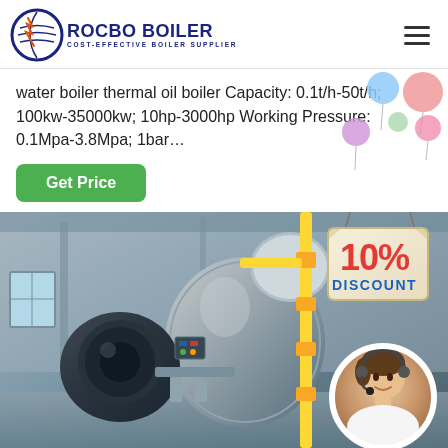[Figure (logo): Rocbo Boiler logo with circular icon and text 'ROCBO BOILER / COST-EFFECTIVE BOILER SUPPLIER']
water boiler thermal oil boiler Capacity: 0.1t/h-50t/h; 100kw-35000kw; 10hp-3000hp Working Pressure: 0.1Mpa-3.8Mpa; 1bar...
[Figure (other): Green 'Get Price' button]
[Figure (photo): Industrial boiler equipment photo with 10% DISCOUNT badge overlay and customer service representative circle image in bottom right corner]